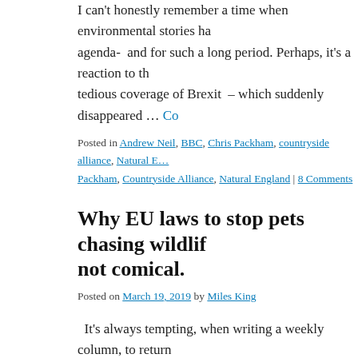I can’t honestly remember a time when environmental stories ha… agenda-  and for such a long period. Perhaps, it’s a reaction to th… tedious coverage of Brexit  – which suddenly disappeared … Co…
Posted in Andrew Neil, BBC, Chris Packham, countryside alliance, Natural E… Packham, Countryside Alliance, Natural England | 8 Comments
Why EU laws to stop pets chasing wildlif… not comical.
Posted on March 19, 2019 by Miles King
It’s always tempting, when writing a weekly column, to return… chewed bone called Brexit. And despite Westminster having des… Farce territory last week, I am going to resist the temptation …
Posted in dogs, Michael Gove, Natural England, Tony Juniper | Tagged dogs,… England, Tony Juniper | 2 Comments
Time in Nature helps our children’s ment…